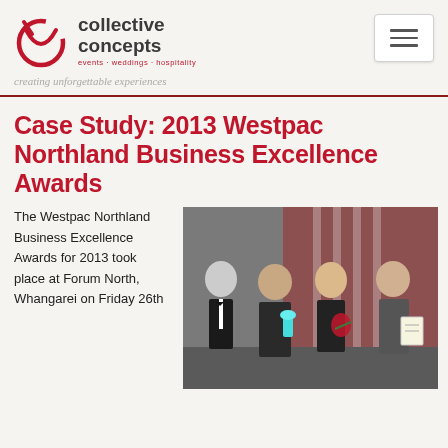[Figure (logo): Collective Concepts logo with red circular icon, company name in dark gray, red tagline 'events · weddings · hospitality', and cursive gray text 'creating unforgettable experiences']
Case Study: 2013 Westpac Northland Business Excellence Awards
The Westpac Northland Business Excellence Awards for 2013 took place at Forum North, Whangarei on Friday 26th
[Figure (photo): Four people posing at an awards event. One man in tuxedo, one man holding a trophy, a woman holding flowers, and an older man holding a certificate. Red and white background.]